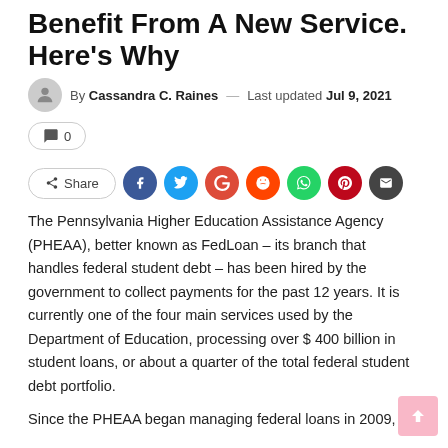Benefit From A New Service. Here's Why
By Cassandra C. Raines — Last updated Jul 9, 2021
0
Share
The Pennsylvania Higher Education Assistance Agency (PHEAA), better known as FedLoan – its branch that handles federal student debt – has been hired by the government to collect payments for the past 12 years. It is currently one of the four main services used by the Department of Education, processing over $ 400 billion in student loans, or about a quarter of the total federal student debt portfolio.
Since the PHEAA began managing federal loans in 2009,